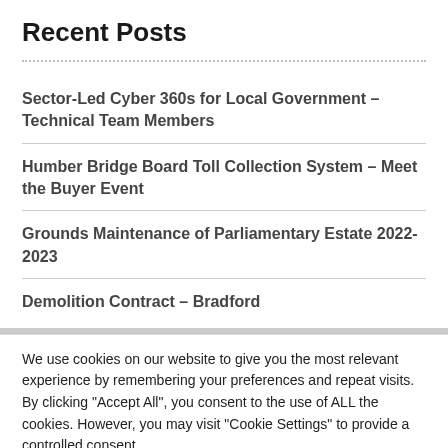Recent Posts
Sector-Led Cyber 360s for Local Government – Technical Team Members
Humber Bridge Board Toll Collection System – Meet the Buyer Event
Grounds Maintenance of Parliamentary Estate 2022-2023
Demolition Contract – Bradford
We use cookies on our website to give you the most relevant experience by remembering your preferences and repeat visits. By clicking "Accept All", you consent to the use of ALL the cookies. However, you may visit "Cookie Settings" to provide a controlled consent.